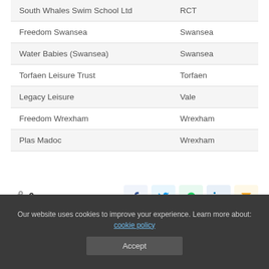|  |  |
| --- | --- |
| South Whales Swim School Ltd | RCT |
| Freedom Swansea | Swansea |
| Water Babies (Swansea) | Swansea |
| Torfaen Leisure Trust | Torfaen |
| Legacy Leisure | Vale |
| Freedom Wrexham | Wrexham |
| Plas Madoc | Wrexham |
0 SHARES
Our website uses cookies to improve your experience. Learn more about: cookie policy